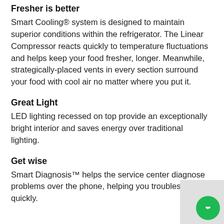Fresher is better
Smart Cooling® system is designed to maintain superior conditions within the refrigerator. The Linear Compressor reacts quickly to temperature fluctuations and helps keep your food fresher, longer. Meanwhile, strategically-placed vents in every section surround your food with cool air no matter where you put it.
Great Light
LED lighting recessed on top provide an exceptionally bright interior and saves energy over traditional lighting.
Get wise
Smart Diagnosis™ helps the service center diagnose problems over the phone, helping you troubleshoot quickly.